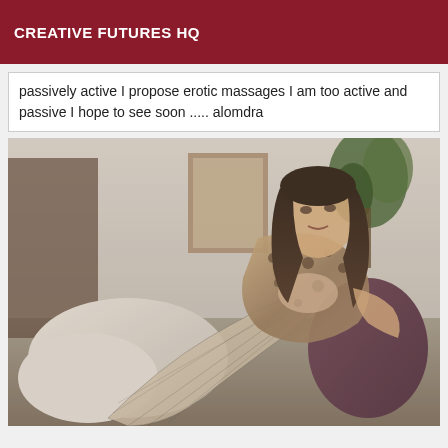CREATIVE FUTURES HQ
passively active I propose erotic massages I am too active and passive I hope to see soon ..... alomdra
[Figure (photo): A person with long dark hair wearing a leopard print top and fishnet stockings, posing in a room with cushions and indoor plants.]